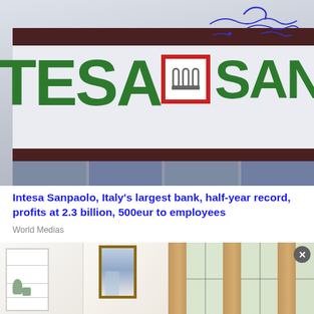[Figure (photo): Photograph of Intesa Sanpaolo bank branch exterior sign showing the green 'TESA' letters, the red-bordered logo with arches, and 'SANPAOLO' text in green, with handwritten annotations in blue pen at the top right.]
Intesa Sanpaolo, Italy's largest bank, half-year record, profits at 2.3 billion, 500eur to employees
World Medias
[Figure (photo): Partial view of an interior room scene showing white shelving unit on the left with decorative objects, a framed artwork in the center, and tan/beige curtains with large windows on the right.]